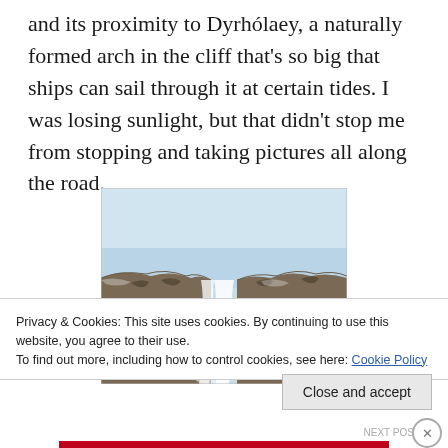and its proximity to Dyrhólaey, a naturally formed arch in the cliff that's so big that ships can sail through it at certain tides. I was losing sunlight, but that didn't stop me from stopping and taking pictures all along the road.
[Figure (photo): A waterfall cascading down a rocky cliff face with a light blue sky in the background.]
Privacy & Cookies: This site uses cookies. By continuing to use this website, you agree to their use.
To find out more, including how to control cookies, see here: Cookie Policy